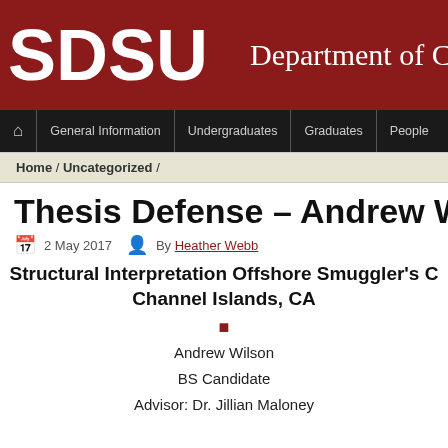SDSU Department of C
Home / Undergraduates / Graduates / People
Home / Uncategorized /
Thesis Defense – Andrew Wilson
2 May 2017   By Heather Webb
Structural Interpretation Offshore Smuggler's C Channel Islands, CA
Andrew Wilson
BS Candidate
Advisor: Dr. Jillian Maloney

May 4th, 2017 – CSL 422, 8:30 am
watch Andrew's defense